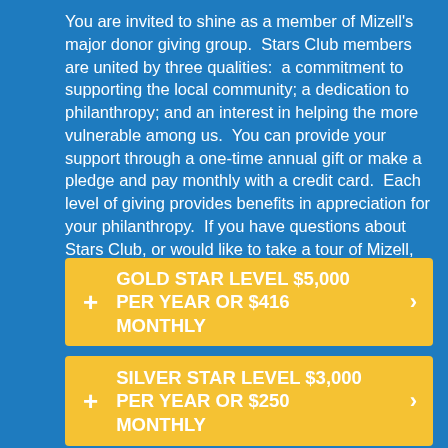You are invited to shine as a member of Mizell's major donor giving group. Stars Club members are united by three qualities: a commitment to supporting the local community; a dedication to philanthropy; and an interest in helping the more vulnerable among us. You can provide your support through a one-time annual gift or make a pledge and pay monthly with a credit card. Each level of giving provides benefits in appreciation for your philanthropy. If you have questions about Stars Club, or would like to take a tour of Mizell, please contact the Stars Club staff liaison, Terry Garay, at 760-323-5689 x 122 or via email at terryg@mizell.org.
GOLD STAR LEVEL $5,000 PER YEAR OR $416 MONTHLY
SILVER STAR LEVEL $3,000 PER YEAR OR $250 MONTHLY